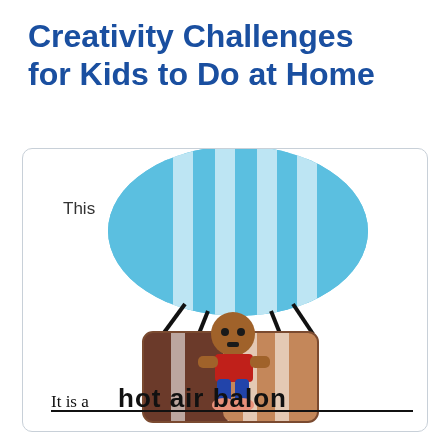Creativity Challenges for Kids to Do at Home
[Figure (illustration): A child's drawing of a hot air balloon basket with a person inside riding it. The balloon envelope is light blue with white stripes at the top. The basket is brown/tan with white stripes. A cartoon person with a brown face, red shirt, and blue pants sits in the basket. Ropes connect balloon to basket. Text inside reads 'This' at top left and 'It is a hot air ballon' handwritten at the bottom with a line under 'hot air ballon'.]